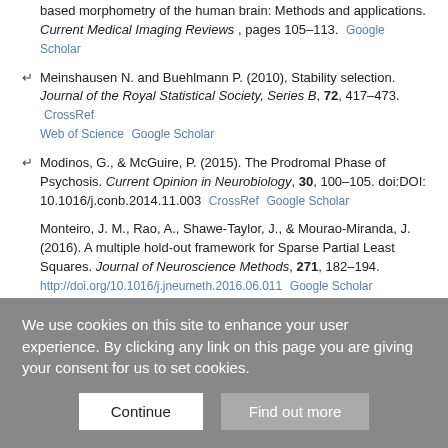based morphometry of the human brain: Methods and applications. Current Medical Imaging Reviews, pages 105–113. Google Scholar
Meinshausen N. and Buehlmann P. (2010), Stability selection. Journal of the Royal Statistical Society, Series B, 72, 417–473. CrossRef Web of Science Google Scholar
Modinos, G., & McGuire, P. (2015). The Prodromal Phase of Psychosis. Current Opinion in Neurobiology, 30, 100–105. doi:DOI: 10.1016/j.conb.2014.11.003 CrossRef Google Scholar
Monteiro, J. M., Rao, A., Shawe-Taylor, J., & Mourão-Miranda, J. (2016). A multiple hold-out framework for Sparse Partial Least Squares. Journal of Neuroscience Methods, 271, 182–194. http://doi.org/10.1016/j.jneumeth.2016.06.011 Google Scholar
Nichols, T. E. et al. (2016) Best practices in data analysis and sharing in
We use cookies on this site to enhance your user experience. By clicking any link on this page you are giving your consent for us to set cookies.